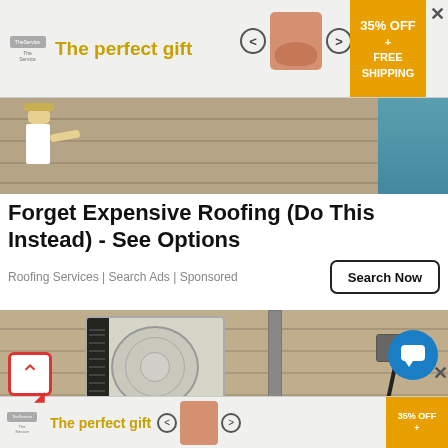[Figure (screenshot): Top advertisement banner for a gift product showing 'The perfect gift' text in gold, product images of a bowl, navigation arrows, and a 35% OFF + FREE SHIPPING promo box in orange]
[Figure (photo): Photo of a person working on a roof/wall surface, partial view]
Forget Expensive Roofing (Do This Instead) - See Options
Roofing Services | Search Ads | Sponsored
[Figure (screenshot): Search Now button]
[Figure (photo): Photo of an outdoor air conditioning unit mounted on a brick wall, with pipes and electrical box visible]
[Figure (screenshot): Bottom advertisement banner repeating the gift product ad with 35% OFF promo]
[Figure (screenshot): Blue circular chat/support button in bottom right corner]
[Figure (screenshot): Back to top button with red caret/arrow icon in bottom left corner]